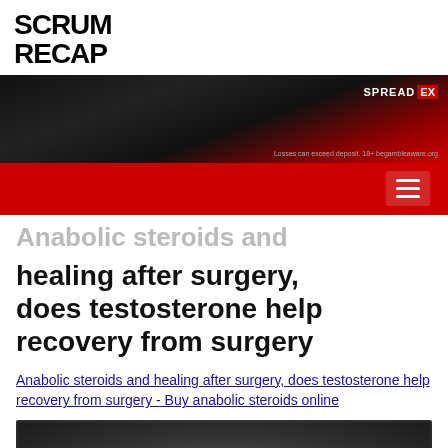SCRUM RECAP
[Figure (screenshot): Spread EX advertisement banner with dark gradient background and red accent. Text: SPREAD EX. Losses can exceed deposit. 18+ begambleaware.org]
[Figure (screenshot): Red navigation bar with hamburger menu icon (three white horizontal lines)]
Anabolic steroids and healing after surgery, does testosterone help recovery from surgery
Anabolic steroids and healing after surgery, does testosterone help recovery from surgery - Buy anabolic steroids online
[Figure (photo): Blurred dark image, partially visible at bottom of page with a dark circular button with three white dots]